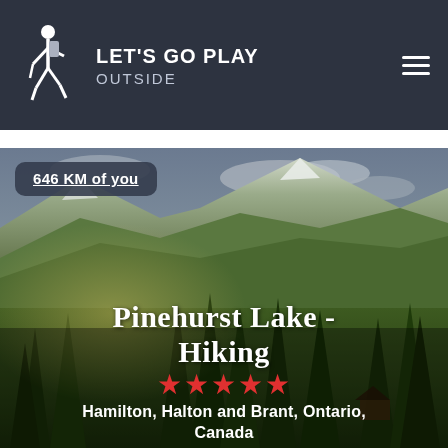LET'S GO PLAY OUTSIDE
[Figure (photo): Scenic mountain landscape with forested hills and snow-capped peaks, serving as hero background image for Pinehurst Lake Hiking trail listing]
646 KM of you
Pinehurst Lake - Hiking
★★★★★
Hamilton, Halton and Brant, Ontario, Canada